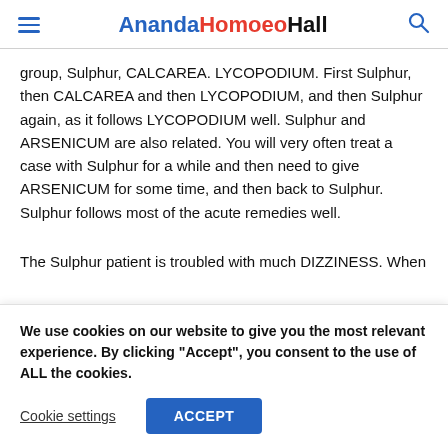AnandaHomoeoHall
group, Sulphur, CALCAREA. LYCOPODIUM. First Sulphur, then CALCAREA and then LYCOPODIUM, and then Sulphur again, as it follows LYCOPODIUM well. Sulphur and ARSENICUM are also related. You will very often treat a case with Sulphur for a while and then need to give ARSENICUM for some time, and then back to Sulphur. Sulphur follows most of the acute remedies well.
The Sulphur patient is troubled with much DIZZINESS. When
We use cookies on our website to give you the most relevant experience. By clicking “Accept”, you consent to the use of ALL the cookies.
Cookie settings | ACCEPT